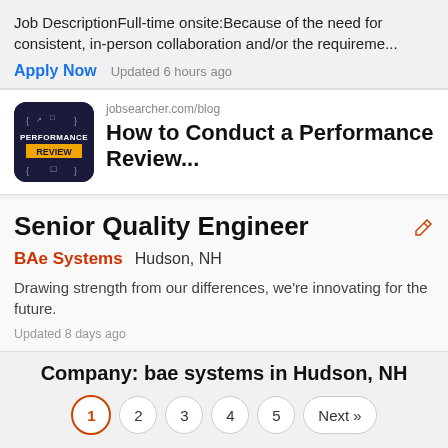Job DescriptionFull-time onsite:Because of the need for consistent, in-person collaboration and/or the requireme...
Apply Now   Updated 6 hours ago
[Figure (screenshot): Blog card thumbnail showing 'PERFORMANCE REVIEW' text on dark blue background with yellow badge]
jobsearcher.com/blog
How to Conduct a Performance Review...
Senior Quality Engineer
BAe Systems   Hudson, NH
Drawing strength from our differences, we're innovating for the future.
Updated 8 days ago
Company: bae systems in Hudson, NH
1  2  3  4  5  Next »